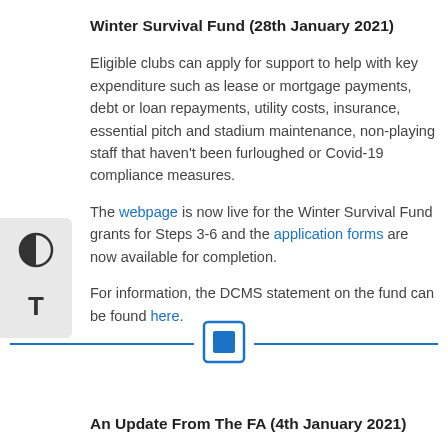Winter Survival Fund (28th January 2021)
Eligible clubs can apply for support to help with key expenditure such as lease or mortgage payments, debt or loan repayments, utility costs, insurance, essential pitch and stadium maintenance, non-playing staff that haven't been furloughed or Covid-19 compliance measures.
The webpage is now live for the Winter Survival Fund grants for Steps 3-6 and the application forms are now available for completion.
For information, the DCMS statement on the fund can be found here.
[Figure (other): Horizontal divider with a blue square icon in the center]
An Update From The FA (4th January 2021)